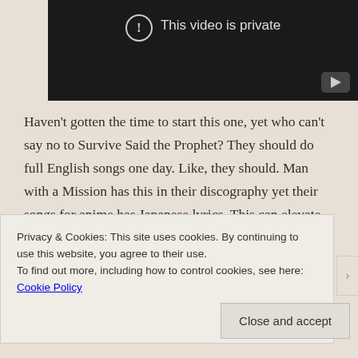[Figure (screenshot): Dark video player showing 'This video is private' message with exclamation circle icon and YouTube button in corner]
Haven't gotten the time to start this one, yet who can't say no to Survive Said the Prophet? They should do full English songs one day. Like, they should. Man with a Mission has this in their discography yet their songs for anime has Japanese lyrics. This can elevate the experience of the show as long as the message is
Privacy & Cookies: This site uses cookies. By continuing to use this website, you agree to their use.
To find out more, including how to control cookies, see here: Cookie Policy
Close and accept